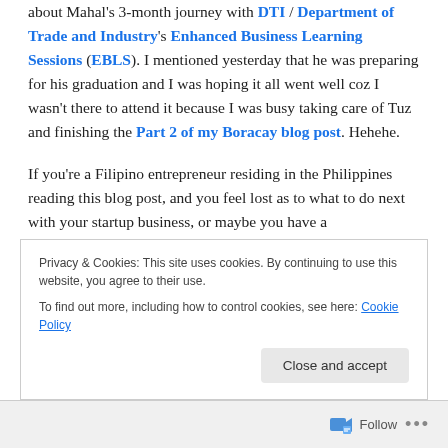about Mahal's 3-month journey with DTI / Department of Trade and Industry's Enhanced Business Learning Sessions (EBLS). I mentioned yesterday that he was preparing for his graduation and I was hoping it all went well coz I wasn't there to attend it because I was busy taking care of Tuz and finishing the Part 2 of my Boracay blog post. Hehehe.
If you're a Filipino entrepreneur residing in the Philippines reading this blog post, and you feel lost as to what to do next with your startup business, or maybe you have a
Privacy & Cookies: This site uses cookies. By continuing to use this website, you agree to their use.
To find out more, including how to control cookies, see here: Cookie Policy
Follow ...